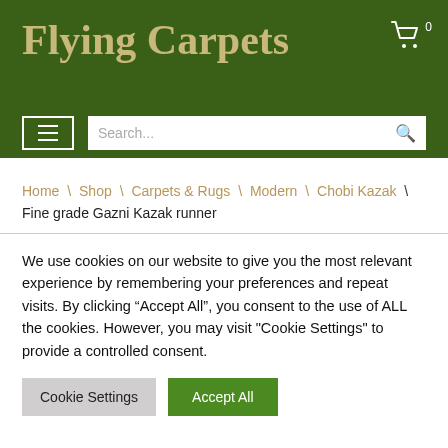Flying Carpets
Home \ Shop \ Carpets & Rugs \ Modern \ Chobi Kazak \ Fine grade Gazni Kazak runner
We use cookies on our website to give you the most relevant experience by remembering your preferences and repeat visits. By clicking “Accept All”, you consent to the use of ALL the cookies. However, you may visit "Cookie Settings" to provide a controlled consent.